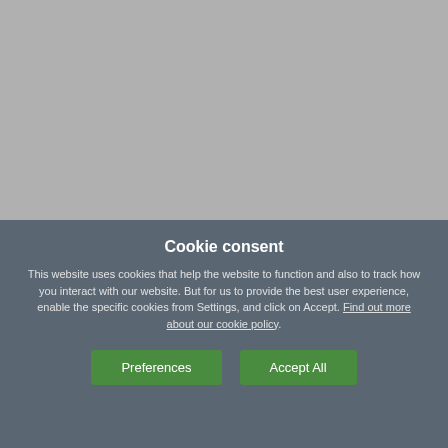[Figure (photo): Grey/silver background image area at the top of the page, appears to be a photograph of a housing development site (washed out/greyed).]
19 Oct 21	Community & Events
Gleeson invites Councillors for a tour of its Florence Drive development in
Cookie consent
This website uses cookies that help the website to function and also to track how you interact with our website. But for us to provide the best user experience, enable the specific cookies from Settings, and click on Accept. Find out more about our cookie policy
Preferences	Accept All